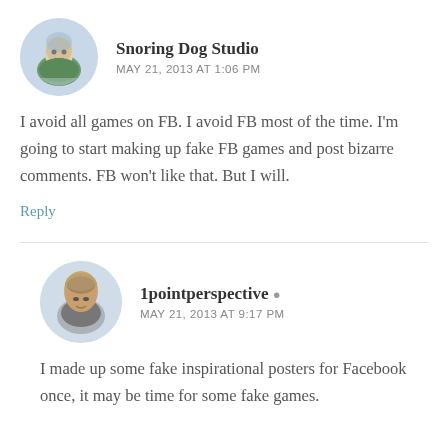[Figure (photo): Circular avatar image of a person painting or drawing, watercolor style illustration]
Snoring Dog Studio
MAY 21, 2013 AT 1:06 PM
I avoid all games on FB. I avoid FB most of the time. I'm going to start making up fake FB games and post bizarre comments. FB won't like that. But I will.
Reply
[Figure (photo): Circular avatar image of a bald person, close-up photo]
1pointperspective
MAY 21, 2013 AT 9:17 PM
I made up some fake inspirational posters for Facebook once, it may be time for some fake games.